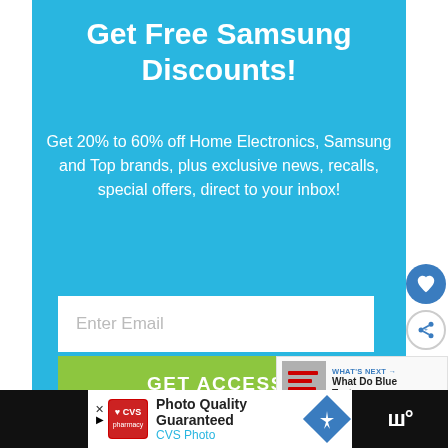Get Free Samsung Discounts!
Get 20% to 60% off Home Electronics, Samsung and Top brands, plus exclusive news, recalls, special offers, direct to your inbox!
Enter Email
GET ACCESS
WHAT'S NEXT → What Do Blue Text messag...
Photo Quality Guaranteed CVS Photo